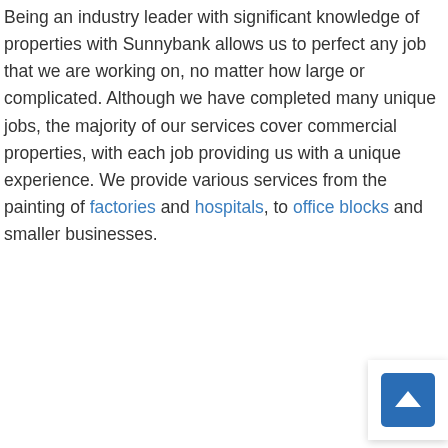Being an industry leader with significant knowledge of properties with Sunnybank allows us to perfect any job that we are working on, no matter how large or complicated. Although we have completed many unique jobs, the majority of our services cover commercial properties, with each job providing us with a unique experience. We provide various services from the painting of factories and hospitals, to office blocks and smaller businesses.